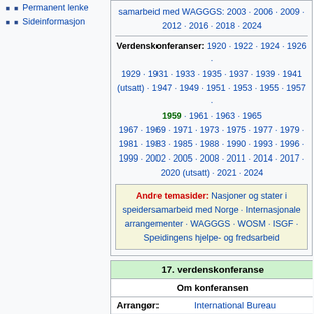Permanent lenke
Sideinformasjon
samarbeid med WAGGGS: 2003 · 2006 · 2009 · 2012 · 2016 · 2018 · 2024
Verdenskonferanser: 1920 · 1922 · 1924 · 1926 · 1929 · 1931 · 1933 · 1935 · 1937 · 1939 · 1941 (utsatt) · 1947 · 1949 · 1951 · 1953 · 1955 · 1957 · 1959 · 1961 · 1963 · 1965 1967 · 1969 · 1971 · 1973 · 1975 · 1977 · 1979 · 1981 · 1983 · 1985 · 1988 · 1990 · 1993 · 1996 · 1999 · 2002 · 2005 · 2008 · 2011 · 2014 · 2017 · 2020 (utsatt) · 2021 · 2024
Andre temasider: Nasjoner og stater i speidersamarbeid med Norge · Internasjonale arrangementer · WAGGGS · WOSM · ISGF · Speidingens hjelpe- og fredsarbeid
| 17. verdenskonferanse |  |
| --- | --- |
| Om konferansen |  |
| Arrangør: | International Bureau |
| Sted: | New Dehli |
| Land: | India |
| Deltagerantall: | 25... |